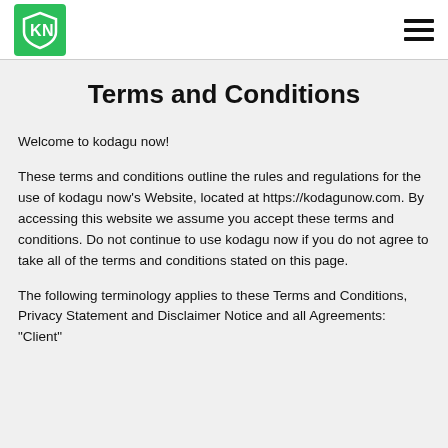KN logo and hamburger menu
Terms and Conditions
Welcome to kodagu now!

These terms and conditions outline the rules and regulations for the use of kodagu now's Website, located at https://kodagunow.com. By accessing this website we assume you accept these terms and conditions. Do not continue to use kodagu now if you do not agree to take all of the terms and conditions stated on this page.
The following terminology applies to these Terms and Conditions, Privacy Statement and Disclaimer Notice and all Agreements: "Client"